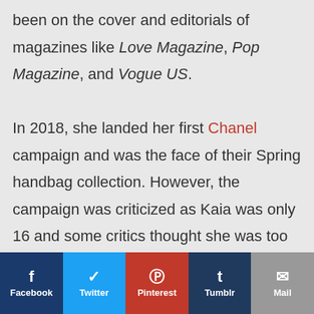been on the cover and editorials of magazines like Love Magazine, Pop Magazine, and Vogue US.

In 2018, she landed her first Chanel campaign and was the face of their Spring handbag collection. However, the campaign was criticized as Kaia was only 16 and some critics thought she was too young to model for such a big brand.
Facebook | Twitter | Pinterest | Tumblr | Mail